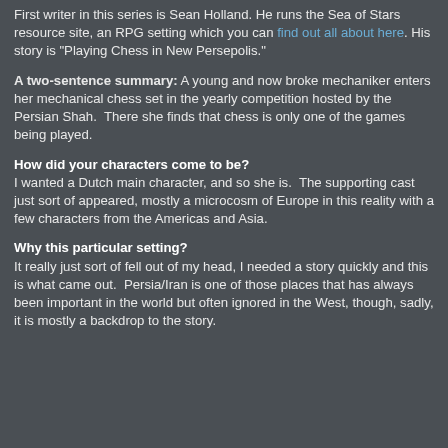First writer in this series is Sean Holland. He runs the Sea of Stars resource site, an RPG setting which you can find out all about here. His story is "Playing Chess in New Persepolis."
A two-sentence summary: A young and now broke mechaniker enters her mechanical chess set in the yearly competition hosted by the Persian Shah. There she finds that chess is only one of the games being played.
How did your characters come to be?
I wanted a Dutch main character, and so she is. The supporting cast just sort of appeared, mostly a microcosm of Europe in this reality with a few characters from the Americas and Asia.
Why this particular setting?
It really just sort of fell out of my head, I needed a story quickly and this is what came out. Persia/Iran is one of those places that has always been important in the world but often ignored in the West, though, sadly, it is mostly a backdrop to the story.